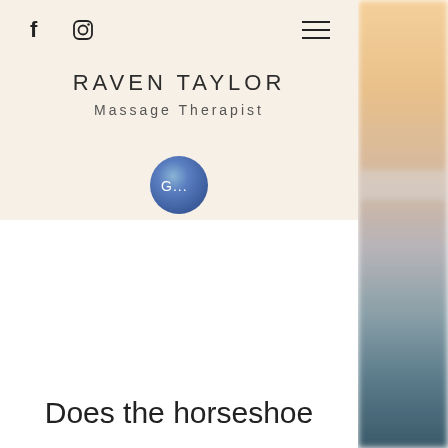f  [Instagram icon]  ≡
RAVEN TAYLOR
Massage Therapist
[Figure (other): A circular Google avatar/profile icon with blue gradient background and 'G...' text in white]
[Figure (photo): Blurred outdoor landscape photo showing sky and water with warm and cool tones — peach/orange at top fading to dark teal/blue at bottom]
Does the horseshoe